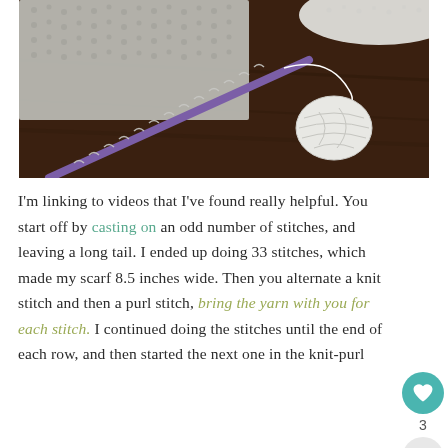[Figure (photo): A purple knitting needle with white yarn/stitches on it, resting on a dark wooden surface with a ball of white yarn and a partially knitted gray fabric visible.]
I'm linking to videos that I've found really helpful. You start off by casting on an odd number of stitches, and leaving a long tail. I ended up doing 33 stitches, which made my scarf 8.5 inches wide. Then you alternate a knit stitch and then a purl stitch, bring the yarn with you for each stitch. I continued doing the stitches until the end of each row, and then started the next one in the knit-purl stitch pattern. I can show you how to do the